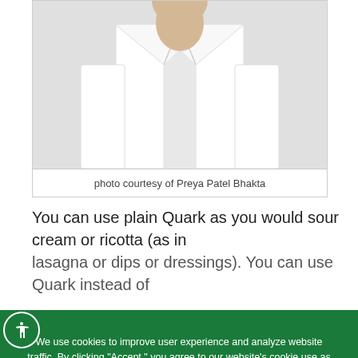[Figure (photo): Photo of person wearing a white coat/jacket, cropped showing torso area]
photo courtesy of Preya Patel Bhakta
You can use plain Quark as you would sour cream or ricotta (as in lasagna or dips or dressings). You can use Quark instead of
We use cookies to improve user experience and analyze website traffic. By clicking “Accept,” you agree to our website’s cookie use as described in our Cookie Policy. You can change your cookie settings at any time by clicking “Preferences.”
Decline
Accept
Preferences